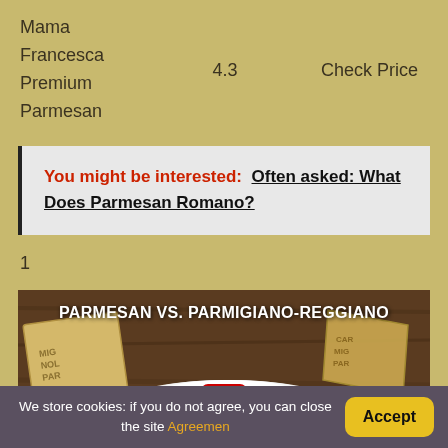Mama Francesca Premium Parmesan
4.3
Check Price
You might be interested:  Often asked: What Does Parmesan Romano?
1
[Figure (screenshot): Video thumbnail showing cheese pieces on a wooden board with text 'PARMESAN VS. PARMIGIANO-REGGIANO' and a YouTube play button]
We store cookies: if you do not agree, you can close the site Agreemen  Accept